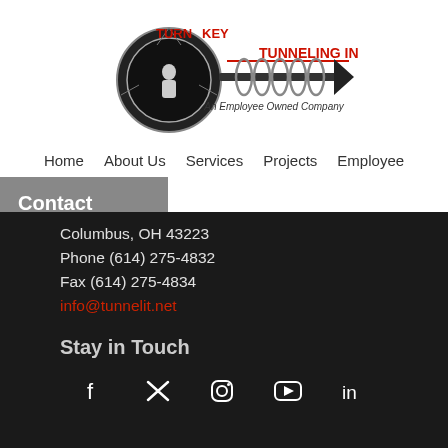[Figure (logo): Turn Key Tunneling Inc. logo — circular drill/tunnel graphic with auger, red text 'TURN KEY' and 'TUNNELING INC.', tagline 'An Employee Owned Company']
Home   About Us   Services   Projects   Employee
Contact
Columbus, OH 43223
Phone (614) 275-4832
Fax (614) 275-4834
info@tunnelit.net
Stay in Touch